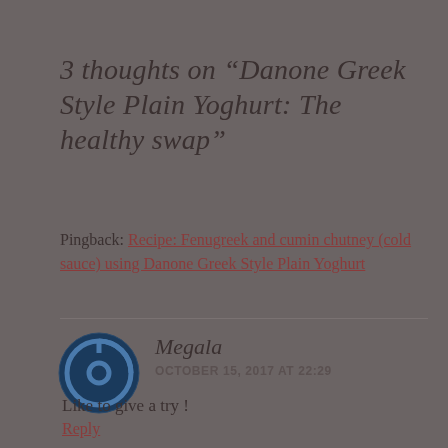3 thoughts on “Danone Greek Style Plain Yoghurt: The healthy swap”
Pingback: Recipe: Fenugreek and cumin chutney (cold sauce) using Danone Greek Style Plain Yoghurt
Megala
OCTOBER 15, 2017 AT 22:29
Like to give a try !
Reply